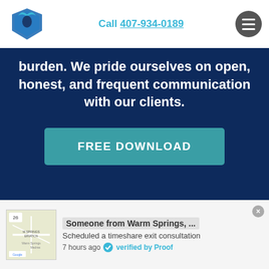Call 407-934-0189
burden. We pride ourselves on open, honest, and frequent communication with our clients.
FREE DOWNLOAD
Someone from Warm Springs, ... Scheduled a timeshare exit consultation 7 hours ago verified by Proof